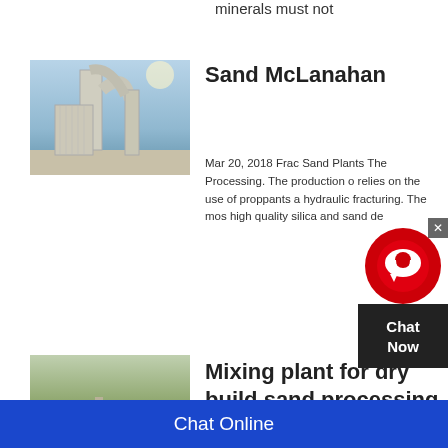minerals must not
[Figure (photo): Industrial sand processing equipment - dust collectors and ductwork against blue sky]
Sand McLanahan
Mar 20, 2018 Frac Sand Plants The Processing. The production of relies on the use of proppants a hydraulic fracturing. The most high quality silica and sand de
[Figure (screenshot): Chat Now widget overlay with red circular icon and dark background]
[Figure (photo): Aerial view of a mining or quarry site with open landscape]
Mixing plant for dry build sand processing
Aug 11, 2014 The production of dry mortar, cement, fillers and plaster re areas of dosing, weighing, mixi...
[Figure (photo): Partial photo - sand or earth excavation site]
Vivian Sand Project The
Chat Online